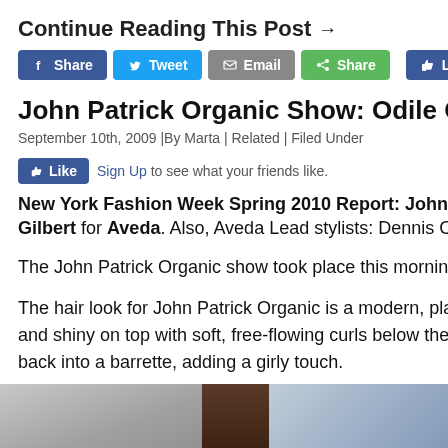Continue Reading This Post →
[Figure (screenshot): Social sharing buttons: Facebook Share, Twitter Tweet, Email, Share, and Facebook Like 0]
John Patrick Organic Show: Odile Gilbert for
September 10th, 2009 |By Marta | Related | Filed Under
[Figure (screenshot): Facebook Like button with Sign Up link and text 'to see what your friends like.']
New York Fashion Week Spring 2010 Report: John Patrick Organic. Odile Gilbert for Aveda. Also, Aveda Lead stylists: Dennis Clenden
The John Patrick Organic show took place this morning at Kee
The hair look for John Patrick Organic is a modern, playful take… and shiny on top with soft, free-flowing curls below the cheek… back into a barrette, adding a girly touch.
[Figure (photo): Partial photo at bottom of page showing dark wooden elements against a grey/blue background]